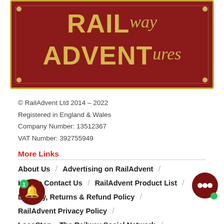[Figure (logo): RailAdvent Railway Adventures logo on dark red background with gold text and border]
© RailAdvent Ltd 2014 – 2022
Registered in England & Wales
Company Number: 13512367
VAT Number: 392755949
More Links
About Us
Advertising on RailAdvent
How to Contact Us
RailAdvent Product List
Delivery, Returns & Refund Policy
RailAdvent Privacy Policy
Loco Stop – The Railway Social Network
Mainline UK Steam Info
RailAdvent Points